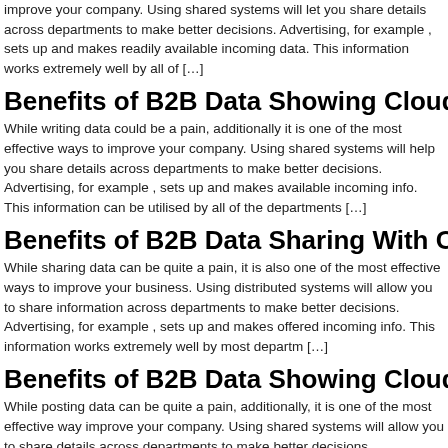improve your company. Using shared systems will let you share details across departments to make better decisions. Advertising, for example , sets up and makes readily available incoming data. This information works extremely well by all of […]
Benefits of B2B Data Showing Cloud-Based Program
While writing data could be a pain, additionally it is one of the most effective ways to improve your company. Using shared systems will help you share details across departments to make better decisions. Advertising, for example , sets up and makes available incoming info. This information can be utilised by all of the departments […]
Benefits of B2B Data Sharing With Cloud-Based Applicat
While sharing data can be quite a pain, it is also one of the most effective ways to improve your business. Using distributed systems will allow you to share information across departments to make better decisions. Advertising, for example , sets up and makes offered incoming info. This information works extremely well by most departm […]
Benefits of B2B Data Showing Cloud-Based Program
While posting data can be quite a pain, additionally, it is one of the most effective way improve your company. Using shared systems will allow you to share details across departments to make better decisions. Advertising, for example , organizes and make obtainable incoming info. This information hookahdelivery.gr can be employed by all […]